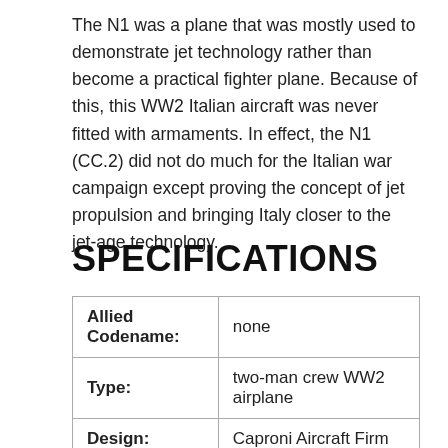The N1 was a plane that was mostly used to demonstrate jet technology rather than become a practical fighter plane. Because of this, this WW2 Italian aircraft was never fitted with armaments. In effect, the N1 (CC.2) did not do much for the Italian war campaign except proving the concept of jet propulsion and bringing Italy closer to the jet-age technology.
SPECIFICATIONS
| Allied Codename: | none |
| Type: | two-man crew WW2 airplane |
| Design: | Caproni Aircraft Firm |